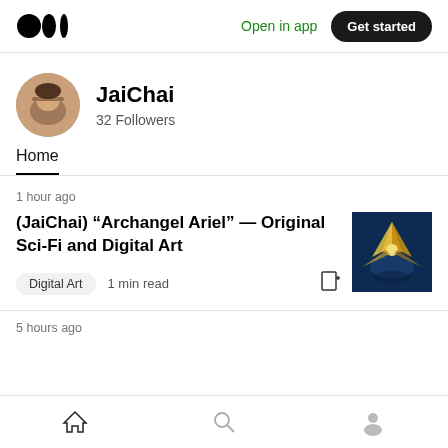Medium logo | Open in app | Get started
[Figure (photo): User profile avatar photo of JaiChai, a man with glasses smiling]
JaiChai
32 Followers
Home
1 hour ago
(JaiChai) "Archangel Ariel" — Original Sci-Fi and Digital Art
[Figure (illustration): Thumbnail image of a golden angelic bird-like figure against a blue background]
Digital Art   1 min read
5 hours ago
Home | Search | Profile navigation icons